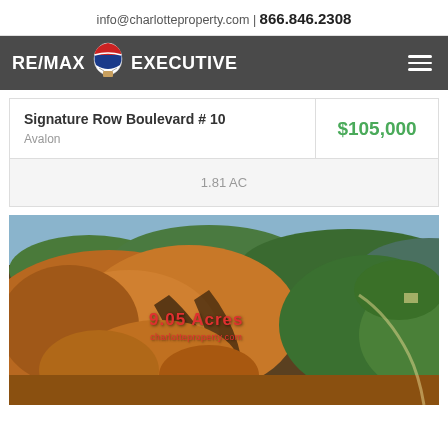info@charlotteproperty.com | 866.846.2308
[Figure (logo): RE/MAX EXECUTIVE logo with red/white/blue hot air balloon]
Signature Row Boulevard # 10
Avalon
$105,000
1.81 AC
[Figure (photo): Aerial photograph of wooded land with autumn foliage, showing approximately 9.05 acres of forested property]